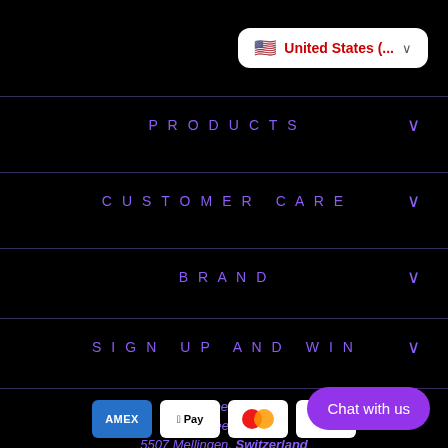[Figure (screenshot): Country selector dropdown showing US flag and 'United States (..  )' label with chevron]
PRODUCTS
CUSTOMER CARE
BRAND
SIGN UP AND WIN
ClassApex GmbH
Im Geerig 22
5507 Mellingen, Switzerland
[Figure (screenshot): Payment method icons: American Express, Apple Pay, Mastercard, PayPal]
[Figure (screenshot): Chat with us button (purple rounded button)]